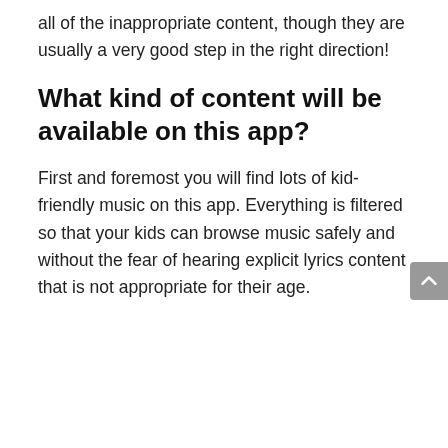all of the inappropriate content, though they are usually a very good step in the right direction!
What kind of content will be available on this app?
First and foremost you will find lots of kid-friendly music on this app. Everything is filtered so that your kids can browse music safely and without the fear of hearing explicit lyrics content that is not appropriate for their age.